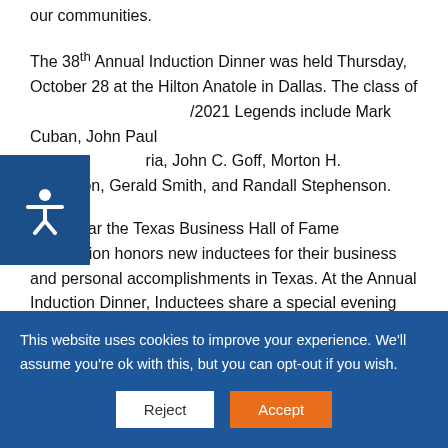our communities.
The 38th Annual Induction Dinner was held Thursday, October 28 at the Hilton Anatole in Dallas. The class of /2021 Legends include Mark Cuban, John Paul ria, John C. Goff, Morton H. Meyerson, Gerald Smith, and Randall Stephenson.
[Figure (other): Accessibility widget icon — blue square with a white stick figure icon]
Each year the Texas Business Hall of Fame Foundation honors new inductees for their business and personal accomplishments in Texas. At the Annual Induction Dinner, Inductees share a special evening with Legends, TBHF Directors and Award recipients.  A highlight of the evening, guests are presented a rare look at the
This website uses cookies to improve your experience. We'll assume you're ok with this, but you can opt-out if you wish.